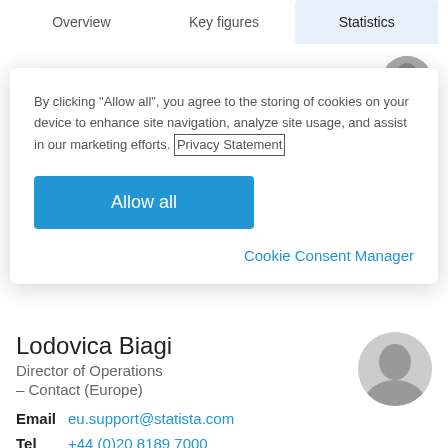Overview  Key figures  Statistics
Kisara Mizuno
By clicking “Allow all”, you agree to the storing of cookies on your device to enhance site navigation, analyze site usage, and assist in our marketing efforts. Privacy Statement
Allow all
Cookie Consent Manager
Lodovica Biagi
Director of Operations
– Contact (Europe)
Email  eu.support@statista.com
Tel  +44 (0)20 8189 7000